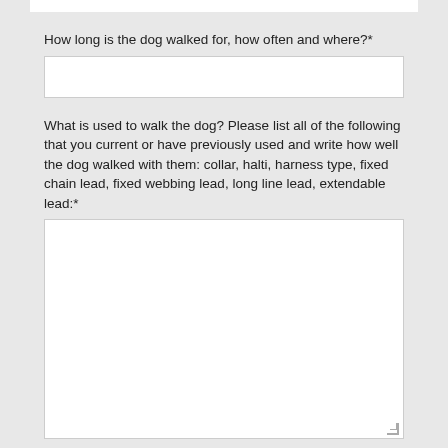How long is the dog walked for, how often and where?*
What is used to walk the dog? Please list all of the following that you current or have previously used and write how well the dog walked with them: collar, halti, harness type, fixed chain lead, fixed webbing lead, long line lead, extendable lead:*